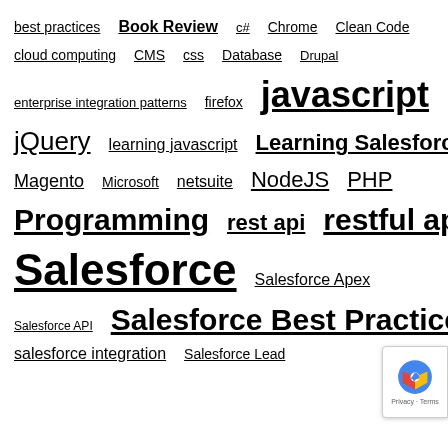best practices
Book Review
c#
Chrome
Clean Code
cloud computing
CMS
css
Database
Drupal
enterprise integration patterns
firefox
javascript
jQuery
learning javascript
Learning Salesforce
Magento
Microsoft
netsuite
NodeJS
PHP
Programming
rest api
restful api
Salesforce
Salesforce Apex
Salesforce API
Salesforce Best Practices
salesforce integration
Salesforce Lead